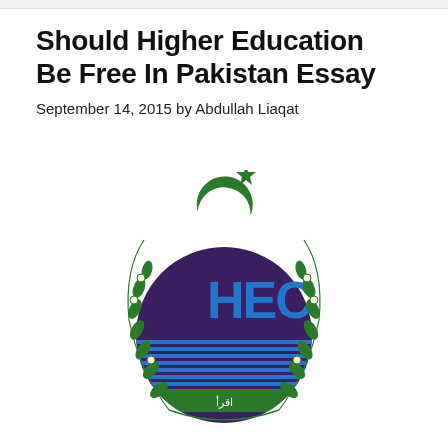Should Higher Education Be Free In Pakistan Essay
September 14, 2015 by Abdullah Liaqat
[Figure (logo): HEC (Higher Education Commission) Pakistan logo featuring a green crescent and star above a circular emblem with laurel branches on either side, and the letters HEC in blue and purple with Arabic/Urdu script below]